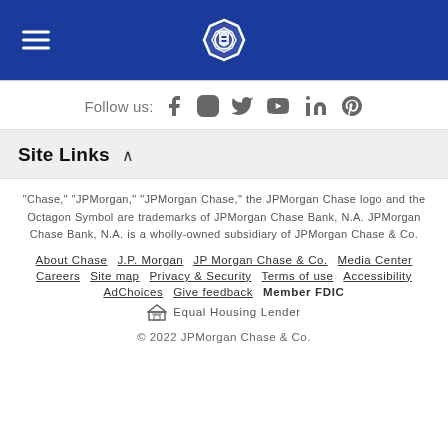Chase navigation header with hamburger menu and Chase logo
Follow us: [Facebook] [Instagram] [Twitter] [YouTube] [LinkedIn] [Pinterest]
Site Links
"Chase," "JPMorgan," "JPMorgan Chase," the JPMorgan Chase logo and the Octagon Symbol are trademarks of JPMorgan Chase Bank, N.A. JPMorgan Chase Bank, N.A. is a wholly-owned subsidiary of JPMorgan Chase & Co.
About Chase | J.P. Morgan | JP Morgan Chase & Co. | Media Center | Careers | Site map | Privacy & Security | Terms of use | Accessibility | AdChoices | Give feedback | Member FDIC
Equal Housing Lender
© 2022 JPMorgan Chase & Co.